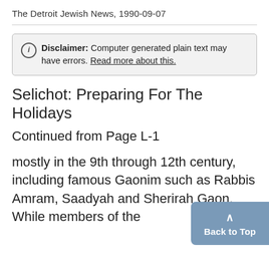The Detroit Jewish News, 1990-09-07
Disclaimer: Computer generated plain text may have errors. Read more about this.
Selichot: Preparing For The Holidays
Continued from Page L-1
mostly in the 9th through 12th century, including famous Gaonim such as Rabbis Amram, Saadyah and Sherirah Gaon.
While members of the